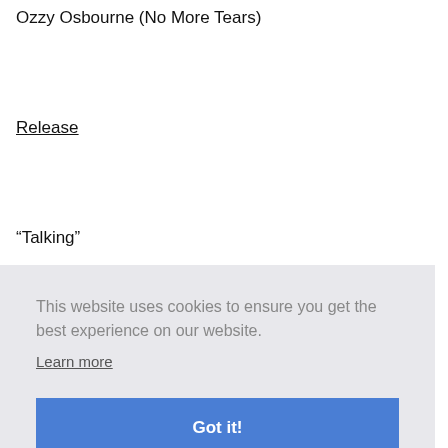Ozzy Osbourne (No More Tears)
Release
“Talking”
This website uses cookies to ensure you get the best experience on our website.
Learn more
Got it!